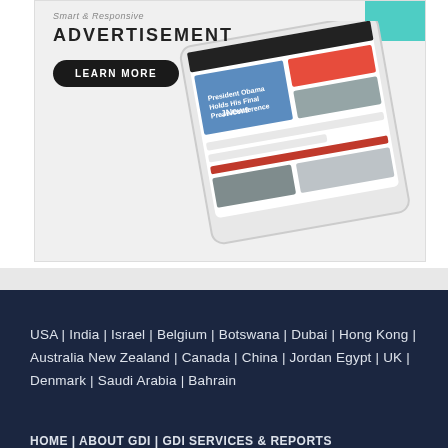[Figure (screenshot): Advertisement banner showing a tablet device displaying a news website (JNews). The banner has 'Smart & Responsive' text at top, 'ADVERTISEMENT' heading in bold, a 'LEARN MORE' button in black rounded rectangle, and a tablet showing a news article about 'President Obama Holds His Final Press Conference'. Teal/cyan color in upper right corner.]
USA | India | Israel | Belgium | Botswana | Dubai | Hong Kong | Australia New Zealand | Canada | China | Jordan Egypt | UK | Denmark | Saudi Arabia | Bahrain
HOME | ABOUT GDI | GDI SERVICES & REPORTS